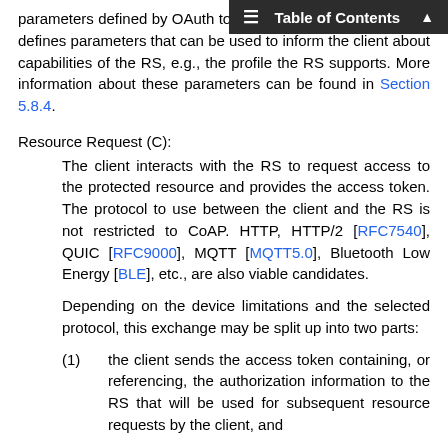Table of Contents
parameters defined by OAuth token extension, this framework defines parameters that can be used to inform the client about capabilities of the RS, e.g., the profile the RS supports. More information about these parameters can be found in Section 5.8.4.
Resource Request (C):
The client interacts with the RS to request access to the protected resource and provides the access token. The protocol to use between the client and the RS is not restricted to CoAP. HTTP, HTTP/2 [RFC7540], QUIC [RFC9000], MQTT [MQTT5.0], Bluetooth Low Energy [BLE], etc., are also viable candidates.
Depending on the device limitations and the selected protocol, this exchange may be split up into two parts:
(1)   the client sends the access token containing, or referencing, the authorization information to the RS that will be used for subsequent resource requests by the client, and